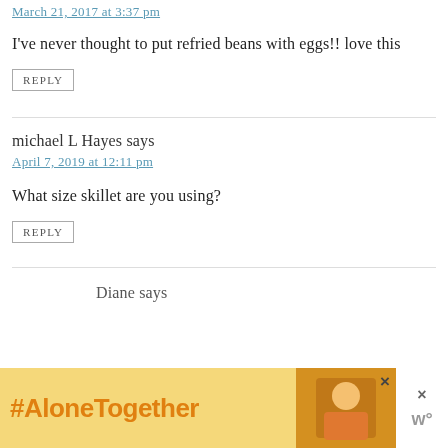March 21, 2017 at 3:37 pm
I've never thought to put refried beans with eggs!! love this
REPLY
michael L Hayes says
April 7, 2019 at 12:11 pm
What size skillet are you using?
REPLY
Diane says
[Figure (other): #AloneTogether advertisement banner with image of woman cooking and close button]